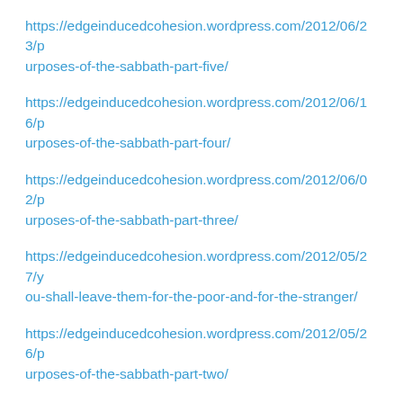https://edgeinducedcohesion.wordpress.com/2012/06/23/purposes-of-the-sabbath-part-five/
https://edgeinducedcohesion.wordpress.com/2012/06/16/purposes-of-the-sabbath-part-four/
https://edgeinducedcohesion.wordpress.com/2012/06/02/purposes-of-the-sabbath-part-three/
https://edgeinducedcohesion.wordpress.com/2012/05/27/you-shall-leave-them-for-the-poor-and-for-the-stranger/
https://edgeinducedcohesion.wordpress.com/2012/05/26/purposes-of-the-sabbath-part-two/
https://edgeinducedcohesion.wordpress.com/2012/05/12/the-purposes-of-the-sabbath-part-one/